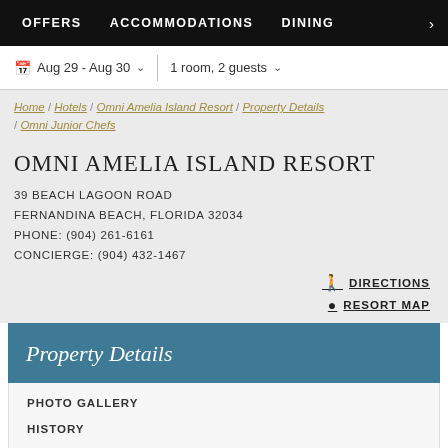OFFERS   ACCOMMODATIONS   DINING   >
Aug 29 - Aug 30   1 room, 2 guests
Home / Hotels / Omni Amelia Island Resort / Property Details / Omni Junior Chefs
OMNI AMELIA ISLAND RESORT
39 BEACH LAGOON ROAD
FERNANDINA BEACH, FLORIDA 32034
PHONE: (904) 261-6161
CONCIERGE: (904) 432-1467
DIRECTIONS
RESORT MAP
Property Details
PHOTO GALLERY
HISTORY